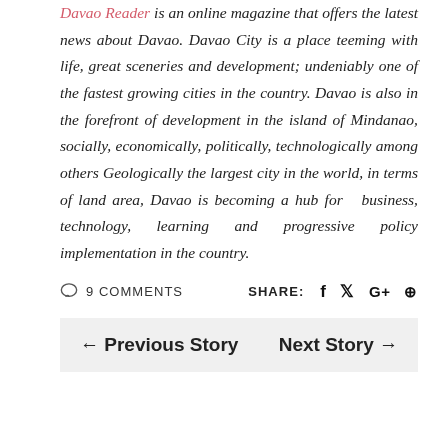Davao Reader is an online magazine that offers the latest news about Davao. Davao City is a place teeming with life, great sceneries and development; undeniably one of the fastest growing cities in the country. Davao is also in the forefront of development in the island of Mindanao, socially, economically, politically, technologically among others Geologically the largest city in the world, in terms of land area, Davao is becoming a hub for business, technology, learning and progressive policy implementation in the country.
9 COMMENTS   SHARE:
← Previous Story   Next Story →